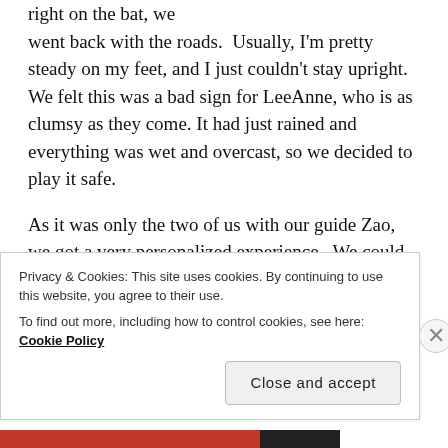right on the bat, we went back with the roads.  Usually, I'm pretty steady on my feet, and I just couldn't stay upright. We felt this was a bad sign for LeeAnne, who is as clumsy as they come. It had just rained and everything was wet and overcast, so we decided to play it safe.

As it was only the two of us with our guide Zao, we got a very personalized experience.  We could have a chat if we wanted, ask questions, and hear her story. We made our way down winding mountain roads, mostly dirt, through rice paddies and past oxen.  Even when drab and overcast, the beauty of the valley was apparent. It
Privacy & Cookies: This site uses cookies. By continuing to use this website, you agree to their use.
To find out more, including how to control cookies, see here: Cookie Policy